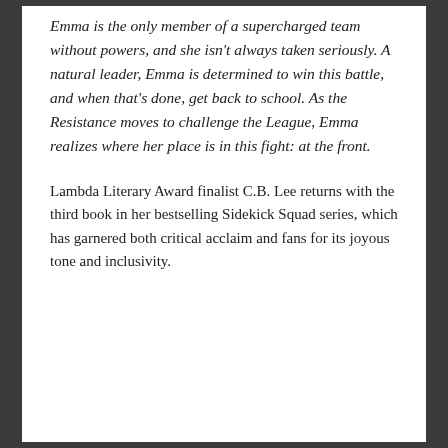Emma is the only member of a supercharged team without powers, and she isn't always taken seriously. A natural leader, Emma is determined to win this battle, and when that's done, get back to school. As the Resistance moves to challenge the League, Emma realizes where her place is in this fight: at the front.
Lambda Literary Award finalist C.B. Lee returns with the third book in her bestselling Sidekick Squad series, which has garnered both critical acclaim and fans for its joyous tone and inclusivity.